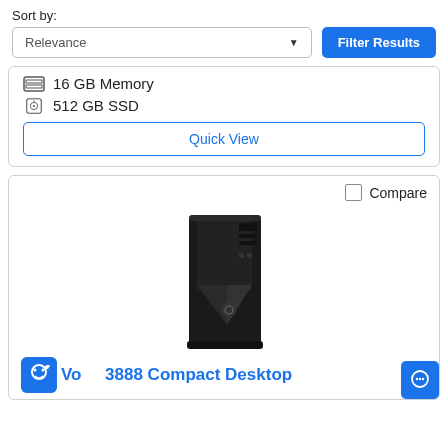Sort by:
Relevance
Filter Results
16 GB Memory
512 GB SSD
Quick View
Compare
[Figure (photo): Dell Vostro 3888 Compact Desktop tower PC, black]
Vo 3888 Compact Desktop